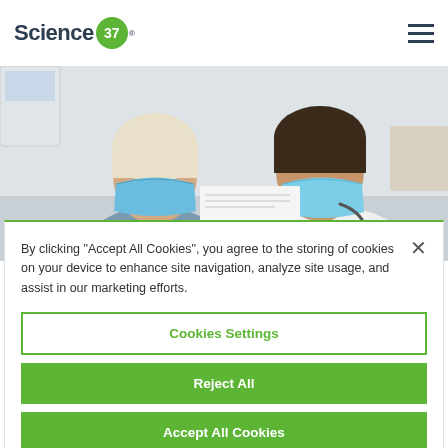[Figure (logo): Science 37 logo with green circle containing '37' and trademark symbol]
[Figure (photo): Two people wearing blue surgical masks, one with white/blonde hair and one with dark hair wearing a white coat with stethoscope, looking at a document together in a medical setting]
By clicking “Accept All Cookies”, you agree to the storing of cookies on your device to enhance site navigation, analyze site usage, and assist in our marketing efforts.
Cookies Settings
Reject All
Accept All Cookies